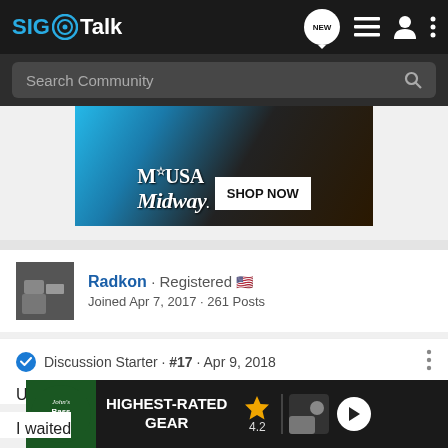SIG Talk
Search Community
[Figure (photo): MidwayUSA advertisement banner showing blue firearm accessory with Shop Now button]
Radkon · Registered 🇺🇸
Joined Apr 7, 2017 · 261 Posts
Discussion Starter · #17 · Apr 9, 2018
Update:
I waited
[Figure (photo): Bass Pro Shops advertisement: Highest-Rated Gear, rating 4.2 stars, with play button]